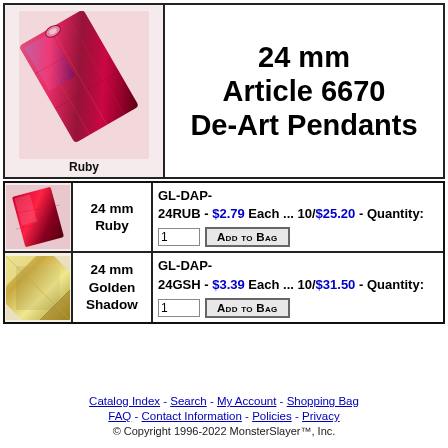[Figure (photo): Ruby colored De-Art pendant crystal, elongated rectangular faceted stone in red/ruby color with iridescent highlights, shown at an angle]
Ruby
24 mm Article 6670 De-Art Pendants
| [ruby image] | 24 mm Ruby | GL-DAP-24RUB - $2.79 Each ... 10/$25.20 - Quantity: [1] ADD TO BAG |
| [golden shadow image] | 24 mm Golden Shadow | GL-DAP-24GSH - $3.39 Each ... 10/$31.50 - Quantity: [1] ADD TO BAG |
Catalog Index - Search - My Account - Shopping Bag FAQ - Contact Information - Policies - Privacy © Copyright 1996-2022 MonsterSlayer™, Inc.